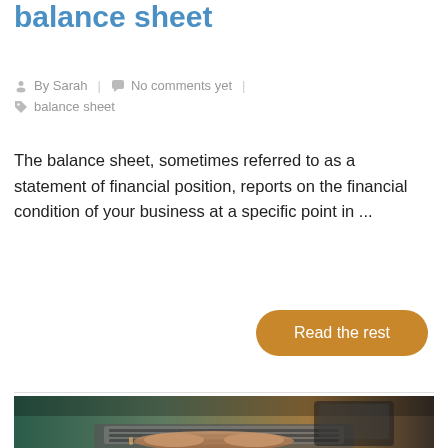balance sheet
By Sarah | No comments yet | balance sheet
The balance sheet, sometimes referred to as a statement of financial position, reports on the financial condition of your business at a specific point in ...
Read the rest
[Figure (photo): Person typing on a laptop keyboard, viewed from above at an angle, with papers on the desk]